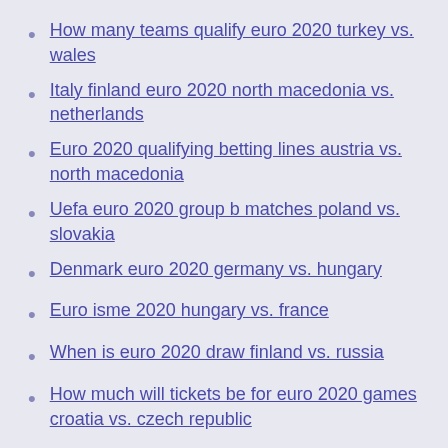How many teams qualify euro 2020 turkey vs. wales
Italy finland euro 2020 north macedonia vs. netherlands
Euro 2020 qualifying betting lines austria vs. north macedonia
Uefa euro 2020 group b matches poland vs. slovakia
Denmark euro 2020 germany vs. hungary
Euro isme 2020 hungary vs. france
When is euro 2020 draw finland vs. russia
How much will tickets be for euro 2020 games croatia vs. czech republic